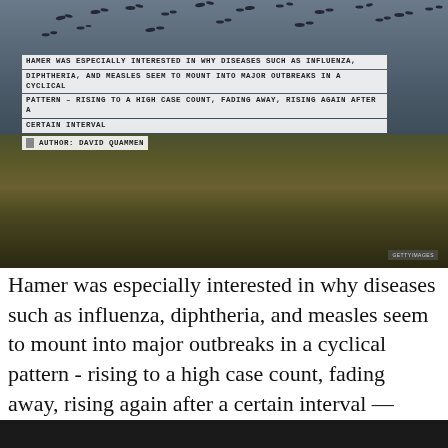[Figure (photo): Dark atmospheric photo of birds flying in a dusky sky over piles of garbage/refuse on the ground, with overlaid text boxes containing a quote about cyclical disease outbreaks.]
Hamer was especially interested in why diseases such as influenza, diphtheria, and measles seem to mount into major outbreaks in a cyclical pattern - rising to a high case count, fading away, rising again after a certain interval — David Quammen
[Figure (photo): Bottom strip of a dark/black photo partially visible at the bottom of the page.]